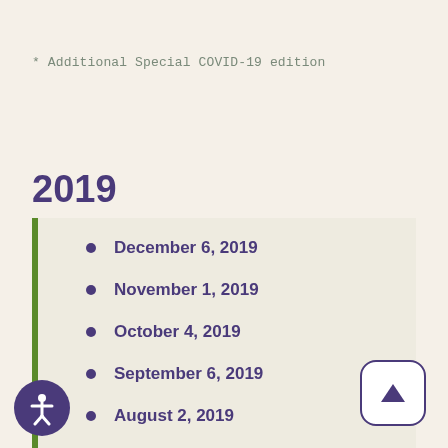* Additional Special COVID-19 edition
2019
December 6, 2019
November 1, 2019
October 4, 2019
September 6, 2019
August 2, 2019
July 5, 2019
June 7, 2019